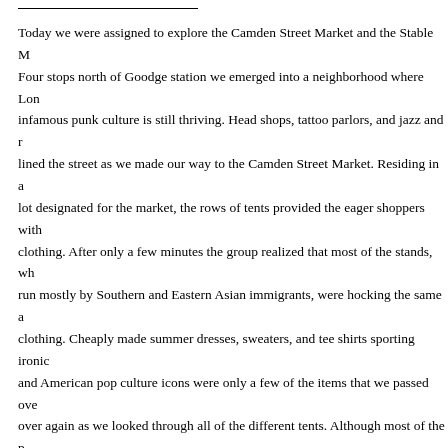Today we were assigned to explore the Camden Street Market and the Stable M... Four stops north of Goodge station we emerged into a neighborhood where Lon... infamous punk culture is still thriving. Head shops, tattoo parlors, and jazz and r... lined the street as we made our way to the Camden Street Market. Residing in a... lot designated for the market, the rows of tents provided the eager shoppers with... clothing. After only a few minutes the group realized that most of the stands, wh... run mostly by Southern and Eastern Asian immigrants, were hocking the same a... clothing. Cheaply made summer dresses, sweaters, and tee shirts sporting ironic... and American pop culture icons were only a few of the items that we passed ove... over again as we looked through all of the different tents. Although most of the p... did not have price tags on them, the proprietors were quick to offer "great" deals... which would become even "greater" deals after we had begun to walk away.
After emerging from the Camden Street Market we searched the neighborhood f... Stable Market. After around 30 minutes of searching (passing pubs with such co... names as, "The Elephants Head," "The Spread Eagle," or my personal favorite "... World's End") we finally stumbled upon a crowd of people looking over the edg... bridge. As we looked over ourselves to see what all of the fuss was, and soon u... the Camden Lock Market and the Stable Market beneath it. The crowd above...